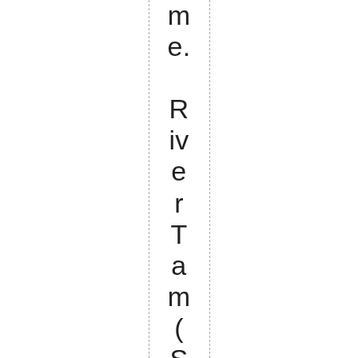me.

RiverTam(SummerGlau)on life